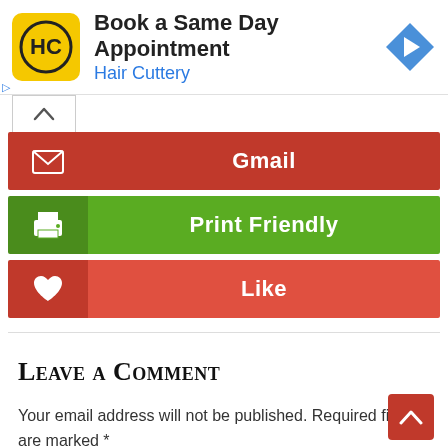[Figure (screenshot): Hair Cuttery advertisement banner with logo, 'Book a Same Day Appointment' heading, 'Hair Cuttery' subtext, and navigation icon]
[Figure (screenshot): Three share buttons: Gmail (red), Print Friendly (green), Like (red) with icons and labels]
Leave a Comment
Your email address will not be published. Required fields are marked *